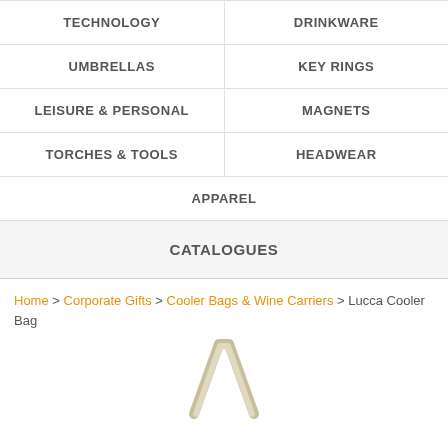| TECHNOLOGY | DRINKWARE |
| UMBRELLAS | KEY RINGS |
| LEISURE & PERSONAL | MAGNETS |
| TORCHES & TOOLS | HEADWEAR |
| APPAREL |  |
| CATALOGUES |  |
Home > Corporate Gifts > Cooler Bags & Wine Carriers > Lucca Cooler Bag
[Figure (photo): Bottom portion of a Lucca Cooler Bag product image, showing the top handle of the bag in a light beige/cream color against a white background.]